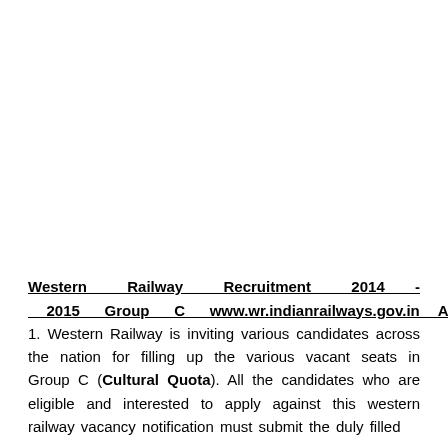Western Railway Recruitment 2014 - 2015 Group C www.wr.indianrailways.gov.in Apply Online : 1. Western Railway is inviting various candidates across the nation for filling up the various vacant seats in Group C (Cultural Quota). All the candidates who are eligible and interested to apply against this western railway vacancy notification must submit the duly filled